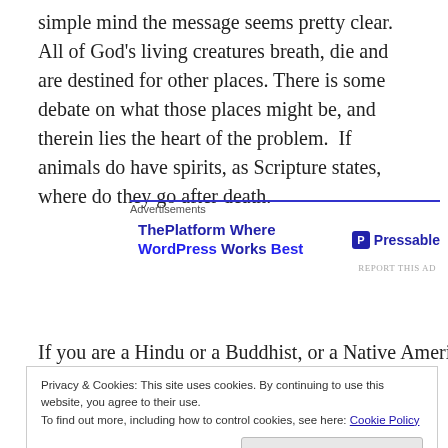simple mind the message seems pretty clear. All of God's living creatures breath, die and are destined for other places. There is some debate on what those places might be, and therein lies the heart of the problem.  If animals do have spirits, as Scripture states, where do they go after death.
[Figure (other): WordPress advertisement banner: 'ThePlatform Where WordPress Works Best' with Pressable logo]
If you are a Hindu or a Buddhist, or a Native American you
Privacy & Cookies: This site uses cookies. By continuing to use this website, you agree to their use.
To find out more, including how to control cookies, see here: Cookie Policy
Close and accept